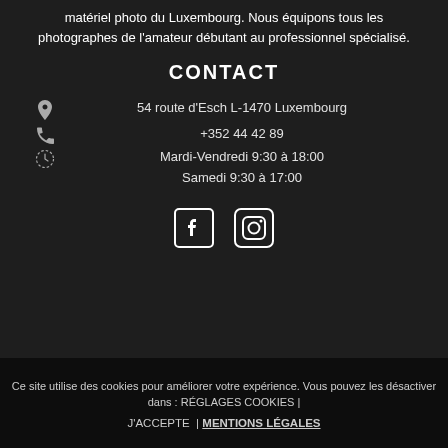matériel photo du Luxembourg. Nous équipons tous les photographes de l'amateur débutant au professionnel spécialisé.
CONTACT
54 route d'Esch L-1470 Luxembourg
+352 44 42 89
Mardi-Vendredi 9:30 à 18:00
Samedi 9:30 à 17:00
[Figure (other): Facebook and Instagram social media icons]
Ce site utilise des cookies pour améliorer votre expérience. Vous pouvez les désactiver dans : RÉGLAGES COOKIES | J'ACCEPTE | MENTIONS LÉGALES